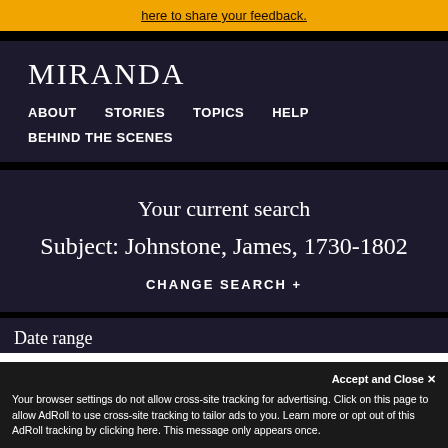here to share your feedback.
MIRANDA
ABOUT   STORIES   TOPICS   HELP
BEHIND THE SCENES
Your current search
Subject: Johnstone, James, 1730-1802
CHANGE SEARCH +
Date range
Accept and Close ✕
Your browser settings do not allow cross-site tracking for advertising. Click on this page to allow AdRoll to use cross-site tracking to tailor ads to you. Learn more or opt out of this AdRoll tracking by clicking here. This message only appears once.